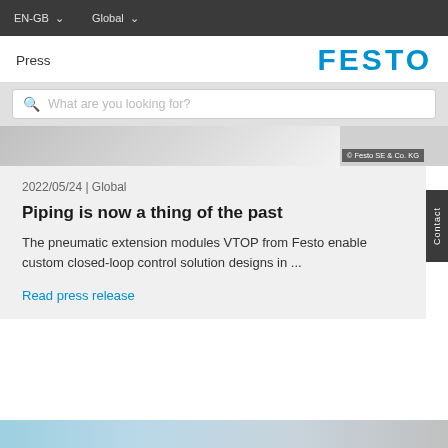EN-GB   Global
Press
[Figure (logo): Festo logo in blue]
What are you looking for?
[Figure (photo): Partial image of Festo pneumatic module with copyright: © Festo SE & Co. KG]
2022/05/24 | Global
Piping is now a thing of the past
The pneumatic extension modules VTOP from Festo enable custom closed-loop control solution designs in ...
Read press release